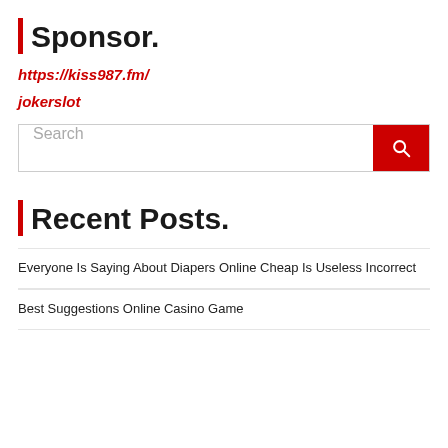Sponsor.
https://kiss987.fm/
jokerslot
Search
Recent Posts.
Everyone Is Saying About Diapers Online Cheap Is Useless Incorrect
Best Suggestions Online Casino Game